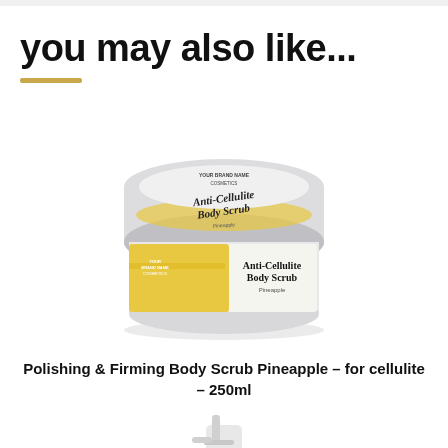you may also like...
[Figure (photo): Anti-Cellulite Body Scrub Pineapple product jar with cream/white lid and yellow label, viewed from slight angle]
Polishing & Firming Body Scrub Pineapple – for cellulite – 250ml
[Figure (photo): Partial view of a white pump bottle product, cropped at bottom of page]